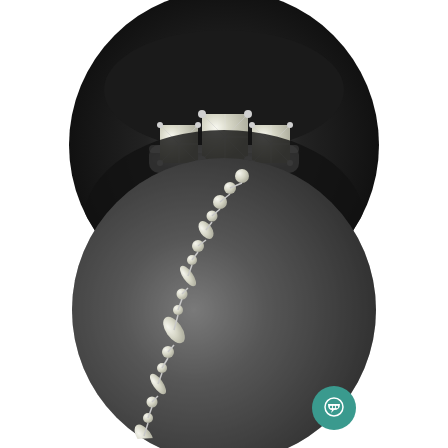[Figure (photo): Close-up circular photo of a 3-stone princess cut diamond ring in 18K white gold set against a dark background]
A 3-stone anniversary band set in 18K white gold. The princess cut Diamonds are all H-color SI1-clarity (1.00ct tw).
[Figure (photo): Circular photo of a diamond bracelet with alternating round, marquise, and pear-shaped diamonds set in white gold, displayed on a gray leather surface. A teal chat bubble icon appears in the bottom-right corner.]